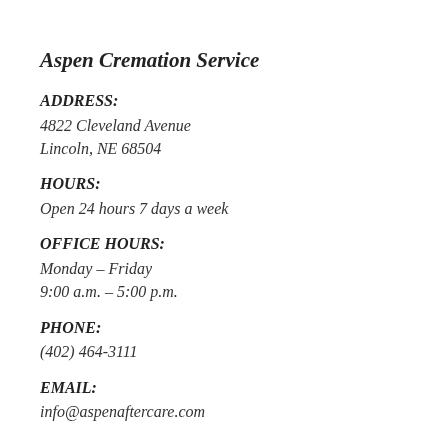Aspen Cremation Service
ADDRESS:
4822 Cleveland Avenue
Lincoln, NE 68504
HOURS:
Open 24 hours 7 days a week
OFFICE HOURS:
Monday – Friday
9:00 a.m. – 5:00 p.m.
PHONE:
(402) 464-3111
EMAIL:
info@aspenaftercare.com